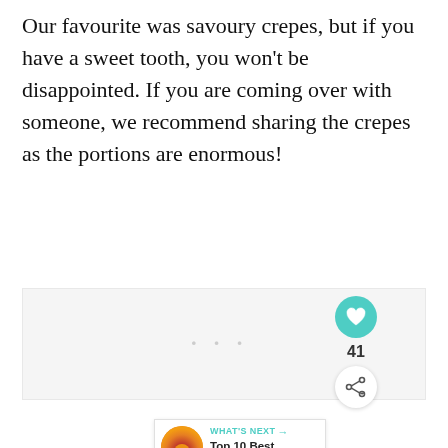Our favourite was savoury crepes, but if you have a sweet tooth, you won't be disappointed. If you are coming over with someone, we recommend sharing the crepes as the portions are enormous!
[Figure (photo): Blank/placeholder image area (image not visible, appears as light gray rectangle)]
[Figure (infographic): UI overlay: teal heart/like button showing 41 likes, white share button, and a 'What's Next' card showing 'Top 10 Best Sunset...' with a sunset thumbnail]